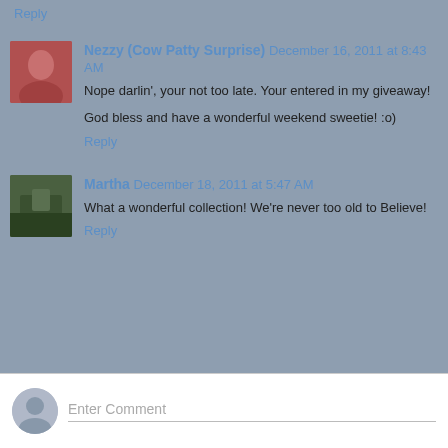Reply
Nezzy (Cow Patty Surprise) December 16, 2011 at 8:43 AM
Nope darlin', your not too late. Your entered in my giveaway!

God bless and have a wonderful weekend sweetie! :o)
Reply
Martha December 18, 2011 at 5:47 AM
What a wonderful collection! We're never too old to Believe!
Reply
Enter Comment